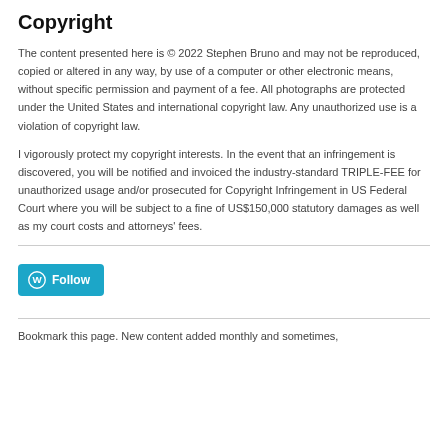Copyright
The content presented here is © 2022 Stephen Bruno and may not be reproduced, copied or altered in any way, by use of a computer or other electronic means, without specific permission and payment of a fee. All photographs are protected under the United States and international copyright law. Any unauthorized use is a violation of copyright law.
I vigorously protect my copyright interests. In the event that an infringement is discovered, you will be notified and invoiced the industry-standard TRIPLE-FEE for unauthorized usage and/or prosecuted for Copyright Infringement in US Federal Court where you will be subject to a fine of US$150,000 statutory damages as well as my court costs and attorneys' fees.
[Figure (other): WordPress Follow button with circular W logo in teal/blue color]
Bookmark this page. New content added monthly and sometimes,